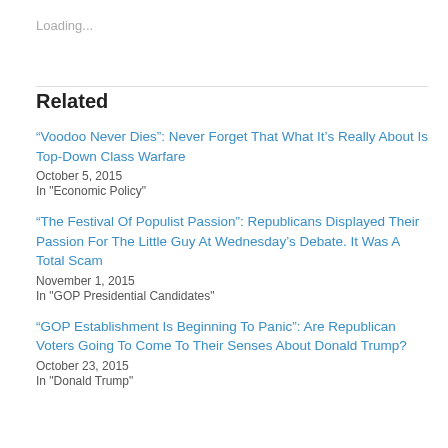Loading...
Related
“Voodoo Never Dies”: Never Forget That What It’s Really About Is Top-Down Class Warfare
October 5, 2015
In "Economic Policy"
“The Festival Of Populist Passion”: Republicans Displayed Their Passion For The Little Guy At Wednesday’s Debate. It Was A Total Scam
November 1, 2015
In "GOP Presidential Candidates"
“GOP Establishment Is Beginning To Panic”: Are Republican Voters Going To Come To Their Senses About Donald Trump?
October 23, 2015
In "Donald Trump"